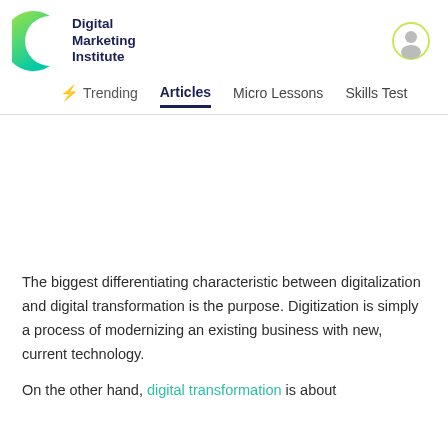[Figure (logo): Digital Marketing Institute logo — green crescent D shape with bold navy text 'Digital Marketing Institute']
Trending | Articles | Micro Lessons | Skills Test
The biggest differentiating characteristic between digitalization and digital transformation is the purpose. Digitization is simply a process of modernizing an existing business with new, current technology.
On the other hand, digital transformation is about